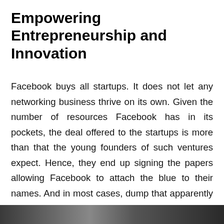Empowering Entrepreneurship and Innovation
Facebook buys all startups. It does not let any networking business thrive on its own. Given the number of resources Facebook has in its pockets, the deal offered to the startups is more than that the young founders of such ventures expect. Hence, they end up signing the papers allowing Facebook to attach the blue to their names. And in most cases, dump that apparently feasible idea in the garbage bin. This has led to nothing but the end of innovation in the social media business. The only way the world knows social media and social networking is through Facebook and has utilized it per the features Facebook has offered.
[Figure (photo): A photo strip at the bottom of the page, partially visible, showing what appears to be a person or scene in dark tones.]